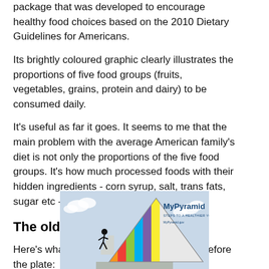package that was developed to encourage healthy food choices based on the 2010 Dietary Guidelines for Americans.
Its brightly coloured graphic clearly illustrates the proportions of five food groups (fruits, vegetables, grains, protein and dairy) to be consumed daily.
It's useful as far it goes. It seems to me that the main problem with the average American family's diet is not only the proportions of the five food groups. It's how much processed foods with their hidden ingredients - corn syrup, salt, trans fats, sugar etc - they consume on a daily basis.
The old and the new
Here's what MyPyramid guide looked like before the plate:
[Figure (illustration): MyPyramid infographic showing a colorful pyramid with rainbow-colored stripes and a stick figure climbing stairs on the left side. Text reads 'MyPyramid STEPS TO A HEALTHIER YOU MyPyramid.gov' on a light blue background with clouds.]